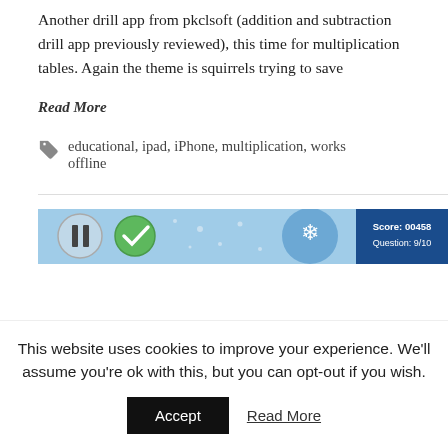Another drill app from pkclsoft (addition and subtraction drill app previously reviewed), this time for multiplication tables. Again the theme is squirrels trying to save
Read More
educational, ipad, iPhone, multiplication, works offline
[Figure (screenshot): Screenshot of a multiplication drill app with blue background, pause and check buttons, snowflake graphic, Score: 00458, Question: 9/10]
This website uses cookies to improve your experience. We'll assume you're ok with this, but you can opt-out if you wish.
Accept
Read More